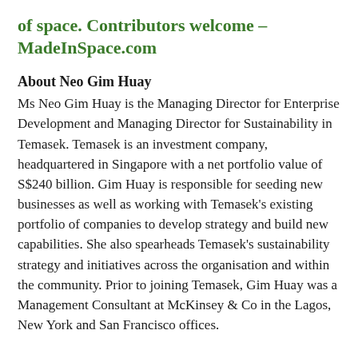of space. Contributors welcome – MadeInSpace.com
About Neo Gim Huay
Ms Neo Gim Huay is the Managing Director for Enterprise Development and Managing Director for Sustainability in Temasek. Temasek is an investment company, headquartered in Singapore with a net portfolio value of S$240 billion. Gim Huay is responsible for seeding new businesses as well as working with Temasek's existing portfolio of companies to develop strategy and build new capabilities. She also spearheads Temasek's sustainability strategy and initiatives across the organisation and within the community. Prior to joining Temasek, Gim Huay was a Management Consultant at McKinsey & Co in the Lagos, New York and San Francisco offices.